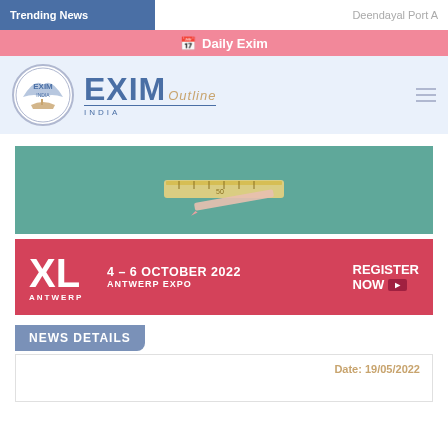Trending News
Deendayal Port A
Daily Exim
[Figure (logo): EXIM India logo with circular emblem and EXIM Outline wordmark]
[Figure (photo): Teal background banner with stationery/ruler items]
[Figure (infographic): XL Antwerp banner: 4-6 October 2022 Antwerp Expo Register Now]
NEWS DETAILS
Date: 19/05/2022